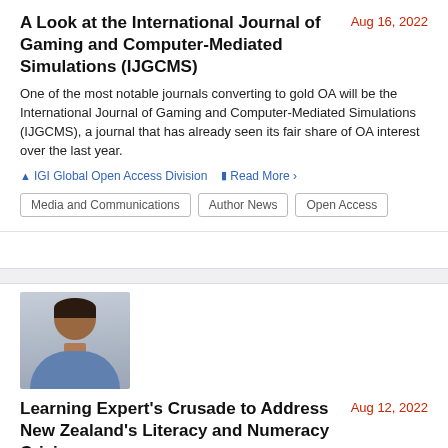A Look at the International Journal of Gaming and Computer-Mediated Simulations (IJGCMS)
Aug 16, 2022
One of the most notable journals converting to gold OA will be the International Journal of Gaming and Computer-Mediated Simulations (IJGCMS), a journal that has already seen its fair share of OA interest over the last year.
IGI Global Open Access Division
Read More >
Media and Communications
Author News
Open Access
[Figure (photo): Headshot portrait of a woman with short dark hair wearing a blue outfit]
Learning Expert's Crusade to Address New Zealand's Literacy and Numeracy Crisis
Aug 12, 2022
Dr. Sydney Savion, educator, leader, and contributing author to